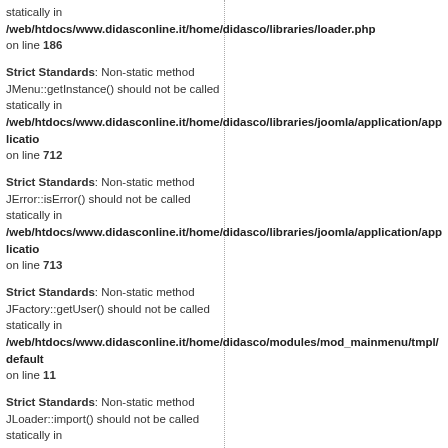statically in /web/htdocs/www.didasconline.it/home/didasco/libraries/loader.php on line 186
Strict Standards: Non-static method JMenu::getInstance() should not be called statically in /web/htdocs/www.didasconline.it/home/didasco/libraries/joomla/application/application on line 712
Strict Standards: Non-static method JError::isError() should not be called statically in /web/htdocs/www.didasconline.it/home/didasco/libraries/joomla/application/application on line 713
Strict Standards: Non-static method JFactory::getUser() should not be called statically in /web/htdocs/www.didasconline.it/home/didasco/modules/mod_mainmenu/tmpl/default on line 11
Strict Standards: Non-static method JLoader::import() should not be called statically in /web/htdocs/www.didasconline.it/home/didasco/libraries/loader.php on line 186
Strict Standards: Non-static method JFactory::getSession() should not be called statically in /web/htdocs/www.didasconline.it/home/didasco/libraries/joomla/factory.php